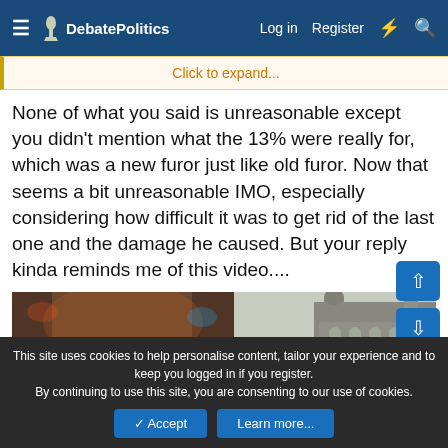DebatePolitics | Log in | Register
Click to expand...
None of what you said is unreasonable except you didn't mention what the 13% were really for, which was a new furor just like old furor. Now that seems a bit unreasonable IMO, especially considering how difficult it was to get rid of the last one and the damage he caused. But your reply kinda reminds me of this video....
[Figure (photo): Two side-by-side photos: left shows a crowd of people at an indoor event with arms raised, right shows a large crowd of people praying outdoors in front of a mosque or similar building]
This site uses cookies to help personalise content, tailor your experience and to keep you logged in if you register. By continuing to use this site, you are consenting to our use of cookies.